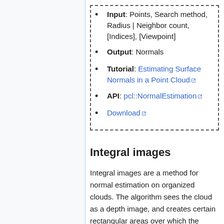Input: Points, Search method, Radius | Neighbor count, [Indices], [Viewpoint]
Output: Normals
Tutorial: Estimating Surface Normals in a Point Cloud
API: pcl::NormalEstimation
Download
Integral images
Integral images are a method for normal estimation on organized clouds. The algorithm sees the cloud as a depth image, and creates certain rectangular areas over which the normals are computed, by taking into account the relationship between neighboring